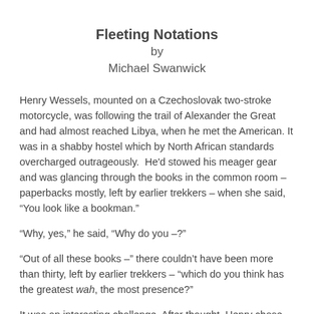Fleeting Notations
by
Michael Swanwick
Henry Wessels, mounted on a Czechoslovak two-stroke motorcycle, was following the trail of Alexander the Great and had almost reached Libya, when he met the American. It was in a shabby hostel which by North African standards overcharged outrageously.  He'd stowed his meager gear and was glancing through the books in the common room – paperbacks mostly, left by earlier trekkers – when she said, “You look like a bookman.”
“Why, yes,” he said, “Why do you –?”
“Out of all these books –” there couldn’t have been more than thirty, left by earlier trekkers – “which do you think has the greatest wah, the most presence?”
It was an interesting challenge. After thought, Henry chose